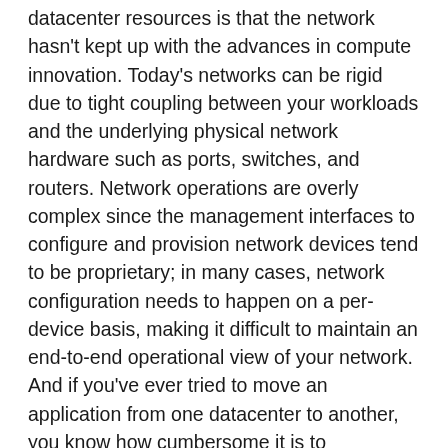datacenter resources is that the network hasn't kept up with the advances in compute innovation. Today's networks can be rigid due to tight coupling between your workloads and the underlying physical network hardware such as ports, switches, and routers. Network operations are overly complex since the management interfaces to configure and provision network devices tend to be proprietary; in many cases, network configuration needs to happen on a per-device basis, making it difficult to maintain an end-to-end operational view of your network. And if you've ever tried to move an application from one datacenter to another, you know how cumbersome it is to reconfigure the underlying IP addresses in the process.
Defining SDN
Software-defined networking is about enabling software – rather than the hardware – to dynamically manage the network in a way that helps you better meet the requirements of your applications and workloads. This